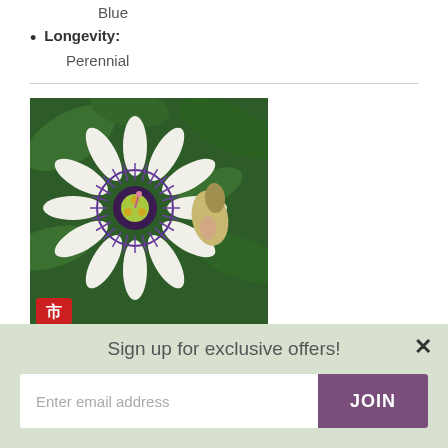Blue
Longevity: Perennial
[Figure (photo): Photograph of Passiflora caerulea (blue passion flower) showing white and purple petals with dark center, surrounded by green foliage and a bud]
Passiflora caerulea
Sign up for exclusive offers!
Enter email address
JOIN